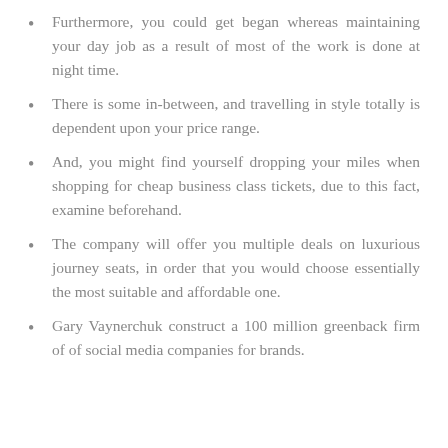Furthermore, you could get began whereas maintaining your day job as a result of most of the work is done at night time.
There is some in-between, and travelling in style totally is dependent upon your price range.
And, you might find yourself dropping your miles when shopping for cheap business class tickets, due to this fact, examine beforehand.
The company will offer you multiple deals on luxurious journey seats, in order that you would choose essentially the most suitable and affordable one.
Gary Vaynerchuk construct a 100 million greenback firm of of social media companies for brands.